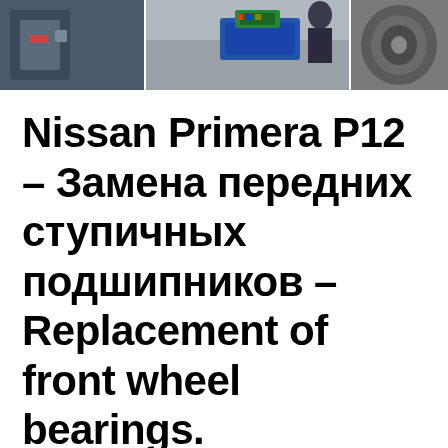[Figure (photo): Partial photograph showing mechanical parts and a blue component, taken in a workshop or garage setting. The image is cropped and shows only the top portion.]
Nissan Primera P12 – Замена передних ступичных подшипников – Replacement of front wheel bearings.